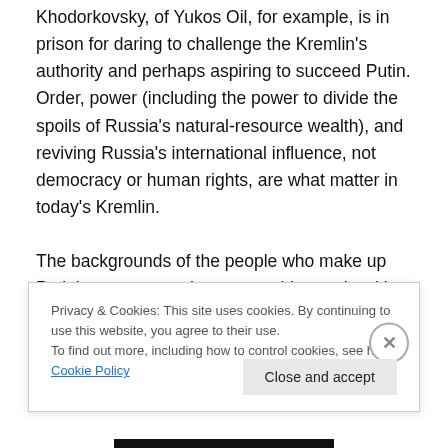Khodorkovsky, of Yukos Oil, for example, is in prison for daring to challenge the Kremlin's authority and perhaps aspiring to succeed Putin. Order, power (including the power to divide the spoils of Russia's natural-resource wealth), and reviving Russia's international influence, not democracy or human rights, are what matter in today's Kremlin.
The backgrounds of the people who make up Putin's government have something to do with this orientation. A study of 1,016 leading figures in Putin's regime — departmental heads of the president's administration
Privacy & Cookies: This site uses cookies. By continuing to use this website, you agree to their use.
To find out more, including how to control cookies, see here: Cookie Policy